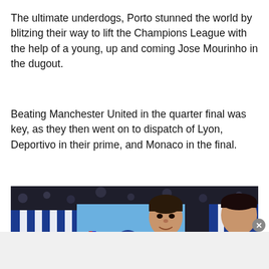The ultimate underdogs, Porto stunned the world by blitzing their way to lift the Champions League with the help of a young, up and coming Jose Mourinho in the dugout.
Beating Manchester United in the quarter final was key, as they then went on to dispatch of Lyon, Deportivo in their prime, and Monaco in the final.
[Figure (photo): Photo of Jose Mourinho and Porto players celebrating with the Champions League trophy, players wearing blue and white striped Porto kits with medals]